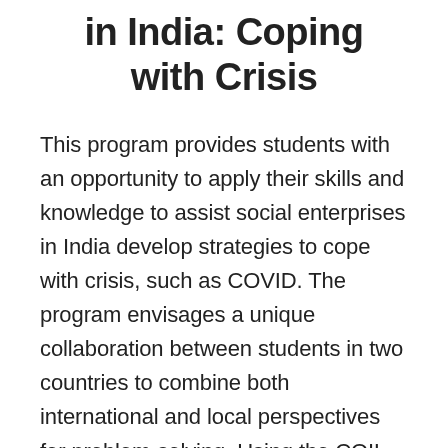in India: Coping with Crisis
This program provides students with an opportunity to apply their skills and knowledge to assist social enterprises in India develop strategies to cope with crisis, such as COVID. The program envisages a unique collaboration between students in two countries to combine both international and local perspectives for problem-solving. Using the COIL model, this program would involve co-teaching and mentoring by faculty in India